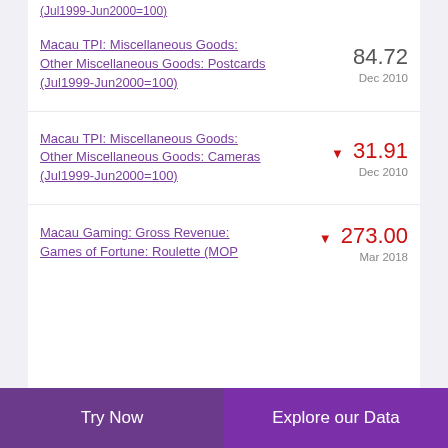(Jul1999-Jun2000=100)
Macau TPI: Miscellaneous Goods: Other Miscellaneous Goods: Postcards (Jul1999-Jun2000=100)
Macau TPI: Miscellaneous Goods: Other Miscellaneous Goods: Cameras (Jul1999-Jun2000=100)
Macau Gaming: Gross Revenue: Games of Fortune: Roulette (MOP
Try Now   Explore our Data